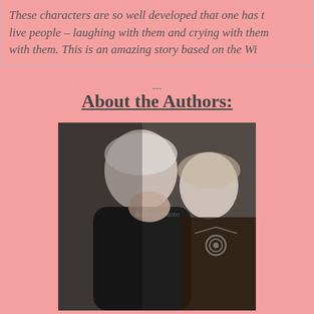These characters are so well developed that one has t live people – laughing with them and crying with them with them. This is an amazing story based on the Wi
About the Authors:
[Figure (photo): Black and white photograph of two authors: an older man in profile view with his hand raised to his face, and a woman with light hair wearing a necklace, looking at the camera.]